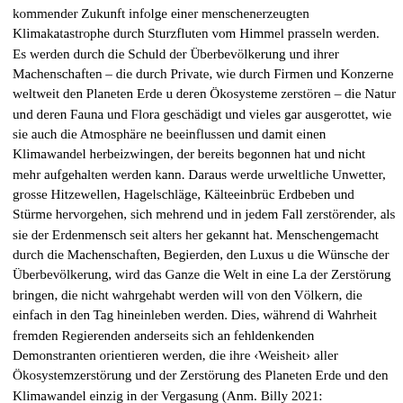kommender Zukunft infolge einer menschenerzeugten Klimakatastrophe durch Sturzfluten vom Himmel prasseln werden. Es werden durch die Schuld der Überbevölkerung und ihrer Machenschaften – die durch Private, wie durch Firmen und Konzerne weltweit den Planeten Erde und deren Ökosysteme zerstören – die Natur und deren Fauna und Flora geschädigt und vieles gar ausgerottet, wie sie auch die Atmosphäre negativ beeinflussen und damit einen Klimawandel herbeizwingen, der bereits begonnen hat und nicht mehr aufgehalten werden kann. Daraus werden urweltliche Unwetter, grosse Hitzewellen, Hagelschläge, Kälteeinbrüche, Erdbeben und Stürme hervorgehen, sich mehrend und in jedem Fall zerstörender, als sie der Erdenmensch seit alters her gekannt hat. Menschengemacht durch die Machenschaften, Begierden, den Luxus und die Wünsche der Überbevölkerung, wird das Ganze die Welt in eine Lage der Zerstörung bringen, die nicht wahrgehabt werden will von den Völkern, die einfach in den Tag hineinleben werden. Dies, während die Wahrheit fremden Regierenden anderseits sich an fehldenkenden Demonstranten orientieren werden, die ihre ‹Weisheit› aller Ökosystemzerstörung und der Zerstörung des Planeten Erde und den Klimawandel einzig in der Vergasung (Anm. Billy 2021: Treibhausgas CO2) sehen werden. Vollkommen wird der wahre Grund des ganzen Desasters weder erkannt noch in Betracht gezogen, nämlich die Über­